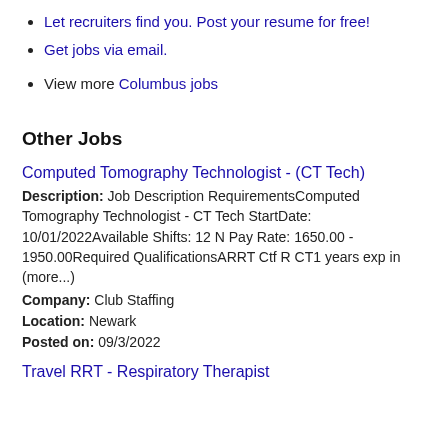Let recruiters find you. Post your resume for free!
Get jobs via email.
View more Columbus jobs
Other Jobs
Computed Tomography Technologist - (CT Tech)
Description: Job Description RequirementsComputed Tomography Technologist - CT Tech StartDate: 10/01/2022Available Shifts: 12 N Pay Rate: 1650.00 - 1950.00Required QualificationsARRT Ctf R CT1 years exp in (more...)
Company: Club Staffing
Location: Newark
Posted on: 09/3/2022
Travel RRT - Respiratory Therapist